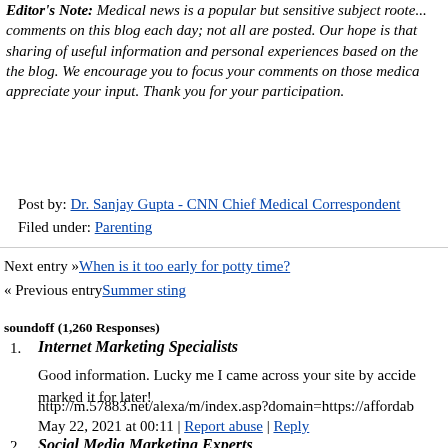Editor's Note: Medical news is a popular but sensitive subject rooted in comments on this blog each day; not all are posted. Our hope is that sharing of useful information and personal experiences based on the blog. We encourage you to focus your comments on those medica appreciate your input. Thank you for your participation.
Post by: Dr. Sanjay Gupta - CNN Chief Medical Correspondent
Filed under: Parenting
Next entry »When is it too early for potty time?
« Previous entrySummer sting
soundoff (1,260 Responses)
1. Internet Marketing Specialists
Good information. Lucky me I came across your site by accide marked it for later!
http://m.57883.net/alexa/m/index.asp?domain=https://affordab
May 22, 2021 at 00:11 | Report abuse | Reply
2. Social Media Marketing Experts
http://www.fabulousthings.com/   media   /is/netsoltrademark